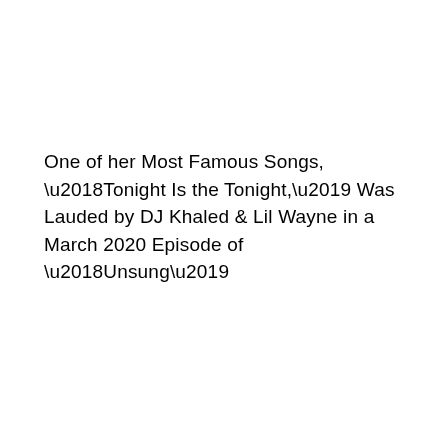One of her Most Famous Songs, ‘Tonight Is the Tonight,’ Was Lauded by DJ Khaled & Lil Wayne in a March 2020 Episode of ‘Unsung’